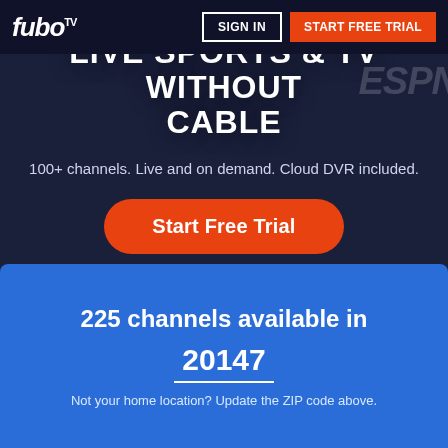fuboTV — SIGN IN | START FREE TRIAL
LIVE SPORTS & TV WITHOUT CABLE
100+ channels. Live and on demand. Cloud DVR included.
Start Free Trial
No hidden fees. Cancel anytime.
225 channels available in
20147
Not your home location? Update the ZIP code above.